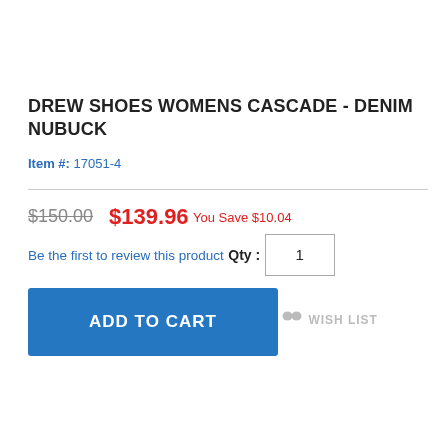DREW SHOES WOMENS CASCADE - DENIM NUBUCK
Item #: 17051-4
$150.00  $139.96
You Save $10.04
Be the first to review this product
Qty :
1
ADD TO CART
WISH LIST